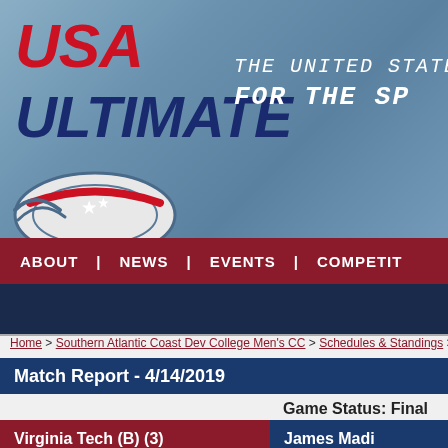[Figure (logo): USA Ultimate logo with red, white and blue flying disc and American flag design. Text reads 'USA ULTIMATE'. Tagline 'THE UNITED STATE FOR THE SP' partially visible on right.]
ABOUT | NEWS | EVENTS | COMPETIT
Home > Southern Atlantic Coast Dev College Men's CC > Schedules & Standings > M
Match Report - 4/14/2019
Game Status: Final
Virginia Tech (B) (3)
James Madi